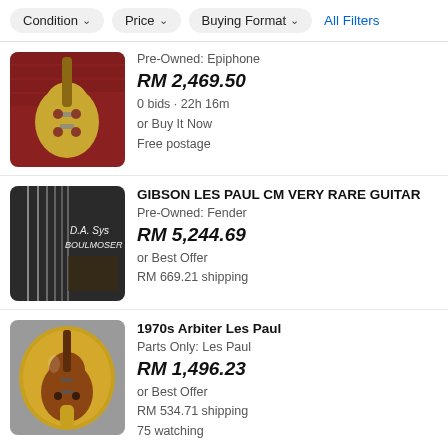Condition | Price | Buying Format | All Filters
Pre-Owned: Epiphone | RM 2,469.50 | 0 bids · 22h 16m | or Buy It Now | Free postage
GIBSON LES PAUL CM VERY RARE GUITAR | Pre-Owned: Fender | RM 5,244.69 | or Best Offer | RM 669.21 shipping
1970s Arbiter Les Paul | Parts Only: Les Paul | RM 1,496.23 | or Best Offer | RM 534.71 shipping | 75 watching